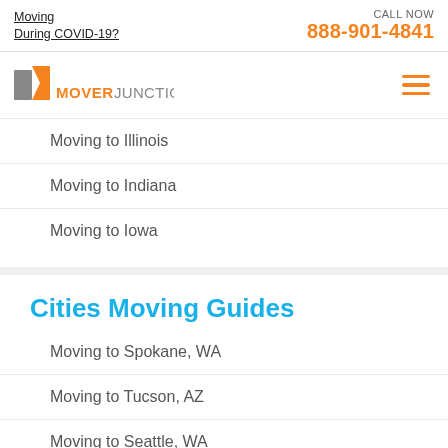Moving During COVID-19?  CALL NOW 888-901-4841
[Figure (logo): Mover Junction logo with orange and gray icon and orange MOVER JUNCTION text]
Moving to Illinois
Moving to Indiana
Moving to Iowa
Cities Moving Guides
Moving to Spokane, WA
Moving to Tucson, AZ
Moving to Seattle, WA